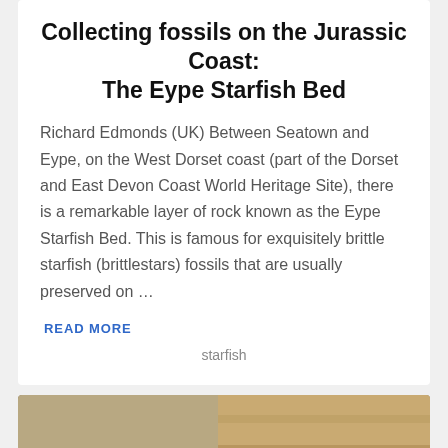Collecting fossils on the Jurassic Coast: The Eype Starfish Bed
Richard Edmonds (UK) Between Seatown and Eype, on the West Dorset coast (part of the Dorset and East Devon Coast World Heritage Site), there is a remarkable layer of rock known as the Eype Starfish Bed. This is famous for exquisitely brittle starfish (brittlestars) fossils that are usually preserved on ...
READ MORE
starfish
[Figure (photo): A person in a blue shirt and teal hat crouching and working at a rocky excavation site with layered tan and brown cliff face in the background.]